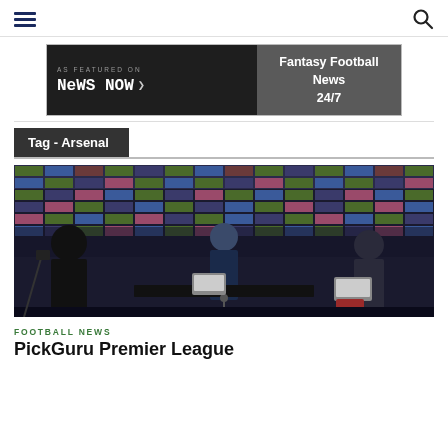Navigation header with hamburger menu and search icon
[Figure (screenshot): Banner advertisement: AS FEATURED ON NEWS NOW > | Fantasy Football News 24/7]
Tag - Arsenal
[Figure (photo): Press conference photo showing a person in dark clothing seated at a table in front of a colorful sponsor wall backdrop, with people on either side at laptops]
FOOTBALL NEWS
PickGuru Premier League